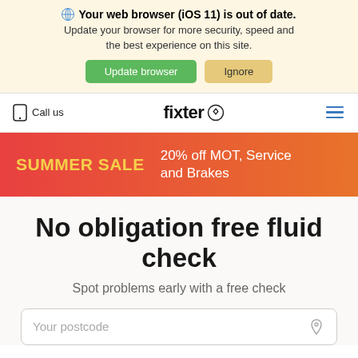🌐 Your web browser (iOS 11) is out of date. Update your browser for more security, speed and the best experience on this site.
Update browser | Ignore
Call us | fixter | menu
SUMMER SALE 20% off MOT, Service and Brakes
No obligation free fluid check
Spot problems early with a free check
Your postcode